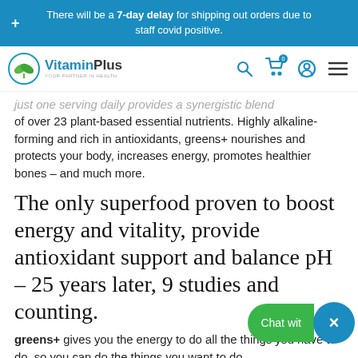There will be a 7-day delay for shipping out orders due to staff covid positive.
[Figure (logo): Vitamin Plus logo with green leaf icon and teal text, tagline 'YOUR PARTNER IN HEALTH']
just one serving daily provides a synergistic blend of over 23 plant-based essential nutrients. Highly alkaline-forming and rich in antioxidants, greens+ nourishes and protects your body, increases energy, promotes healthier bones – and much more.
The only superfood proven to boost energy and vitality, provide antioxidant support and balance pH – 25 years later, 9 studies and counting.
greens+ gives you the energy to do all the things you have to do, so you can do the things you want to do.